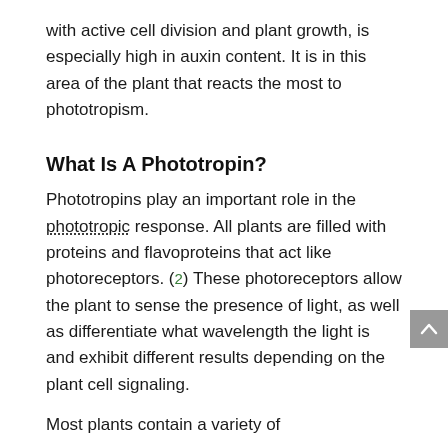with active cell division and plant growth, is especially high in auxin content. It is in this area of the plant that reacts the most to phototropism.
What Is A Phototropin?
Phototropins play an important role in the phototropic response. All plants are filled with proteins and flavoproteins that act like photoreceptors. (2) These photoreceptors allow the plant to sense the presence of light, as well as differentiate what wavelength the light is and exhibit different results depending on the plant cell signaling.
Most plants contain a variety of